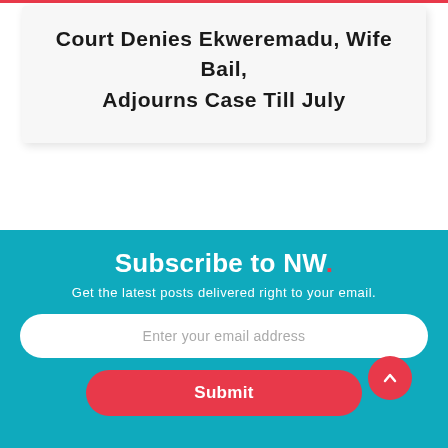Court Denies Ekweremadu, Wife Bail, Adjourns Case Till July
Subscribe to NW.
Get the latest posts delivered right to your email.
Enter your email address
Submit